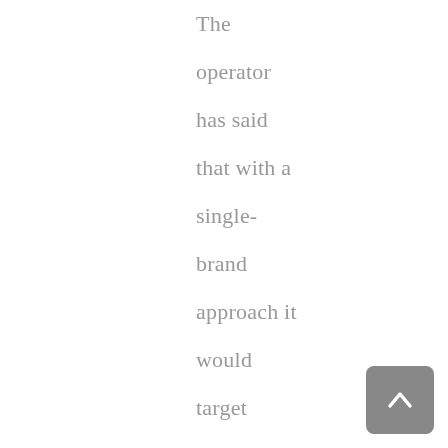The operator has said that with a single-brand approach it would target British efforts not only to improve efficiency, but will also have a positive effect in the future on the